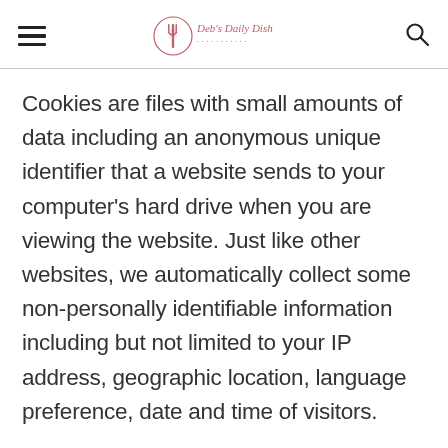Deb's Daily Dish (logo)
Cookies are files with small amounts of data including an anonymous unique identifier that a website sends to your computer's hard drive when you are viewing the website. Just like other websites, we automatically collect some non-personally identifiable information including but not limited to your IP address, geographic location, language preference, date and time of visitors.